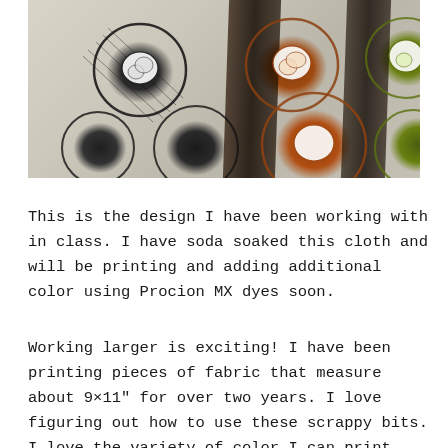[Figure (photo): Three panels of printed fabric showing circular floral (rose) designs. Left panel shows black ink prints on white/cream fabric. Center panel shows orange/brown ink circular rose prints. Right panel shows yellow-green ink circular prints. Dark vertical stripes separate the panels.]
This is the design I have been working with in class. I have soda soaked this cloth and will be printing and adding additional color using Procion MX dyes soon.
Working larger is exciting! I have been printing pieces of fabric that measure about 9×11" for over two years. I love figuring out how to use these scrappy bits. I love the variety of color I can print when